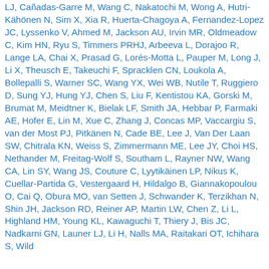LJ, Cañadas-Garre M, Wang C, Nakatochi M, Wong A, Hutri-Kähönen N, Sim X, Xia R, Huerta-Chagoya A, Fernandez-Lopez JC, Lyssenko V, Ahmed M, Jackson AU, Irvin MR, Oldmeadow C, Kim HN, Ryu S, Timmers PRHJ, Arbeeva L, Dorajoo R, Lange LA, Chai X, Prasad G, Lorés-Motta L, Pauper M, Long J, Li X, Theusch E, Takeuchi F, Spracklen CN, Loukola A, Bollepalli S, Warner SC, Wang YX, Wei WB, Nutile T, Ruggiero D, Sung YJ, Hung YJ, Chen S, Liu F, Kentistou KA, Gorski M, Brumat M, Meidtner K, Bielak LF, Smith JA, Hebbar P, Farmaki AE, Hofer E, Lin M, Xue C, Zhang J, Concas MP, Vaccargiu S, van der Most PJ, Pitkänen N, Cade BE, Lee J, Van Der Laan SW, Chitrala KN, Weiss S, Zimmermann ME, Lee JY, Choi HS, Nethander M, Freitag-Wolf S, Southam L, Rayner NW, Wang CA, Lin SY, Wang JS, Couture C, Lyytikäinen LP, Nikus K, Cuellar-Partida G, Vestergaard H, Hildalgo B, Giannakopoulou O, Cai Q, Obura MO, van Setten J, Schwander K, Terzikhan N, Shin JH, Jackson RD, Reiner AP, Martin LW, Chen Z, Li L, Highland HM, Young KL, Kawaguchi T, Thiery J, Bis JC, Nadkarni GN, Launer LJ, Li H, Nalls MA, Raitakari OT, Ichihara S, Wild